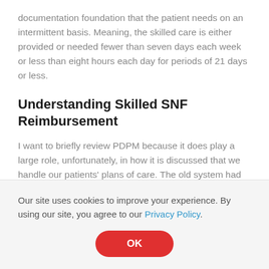documentation foundation that the patient needs on an intermittent basis. Meaning, the skilled care is either provided or needed fewer than seven days each week or less than eight hours each day for periods of 21 days or less.
Understanding Skilled SNF Reimbursement
I want to briefly review PDPM because it does play a large role, unfortunately, in how it is discussed that we handle our patients’ plans of care. The old system had multiple Medicare assessment requirements or multiple MDSs. Now we have one.
Our site uses cookies to improve your experience. By using our site, you agree to our Privacy Policy.